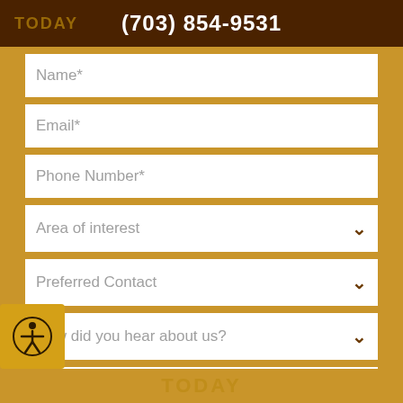(703) 854-9531
Name*
Email*
Phone Number*
Area of interest
Preferred Contact
How did you hear about us?
How can we help?